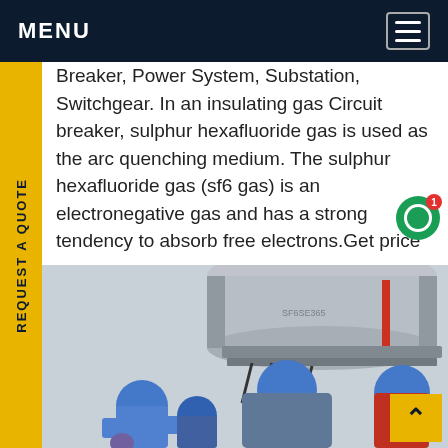MENU
Breaker, Power System, Substation, Switchgear. In an insulating gas Circuit breaker, sulphur hexafluoride gas is used as the arc quenching medium. The sulphur hexafluoride gas (sf6 gas) is an electronegative gas and has a strong tendency to absorb free electrons.Get price
[Figure (photo): Workers wearing blue hard hats and safety gear working on high-voltage electrical equipment / circuit breaker components, showing maintenance or installation work on large industrial equipment.]
REQUEST A QUOTE